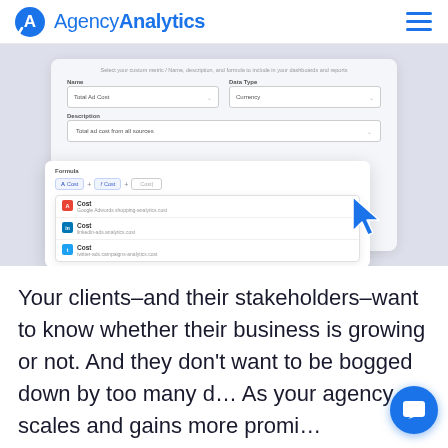AgencyAnalytics
[Figure (screenshot): AgencyAnalytics UI screenshot showing a custom metric creation form with Name field 'Total Ad Cost', Data Type 'Currency', Description 'Total ad cost from all sources', a Formula builder row with Cost chips and a dropdown showing Google, LinkedIn, and Twitter Cost options, with a blue cursor arrow, and Create/Cancel buttons.]
Your clients–and their stakeholders–want to know whether their business is growing or not. And they don't want to be bogged down by too many d… As your agency scales and gains more promi… enterprise-level clients, you'll need custom metrics